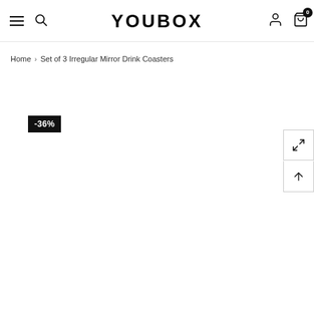YOUBOX header with navigation icons
Home > Set of 3 Irregular Mirror Drink Coasters
-36%
[Figure (screenshot): Product page main image area (blank/white product image area)]
[Figure (other): Expand/fullscreen icon button on right side]
[Figure (other): Scroll to top arrow icon button on right side]